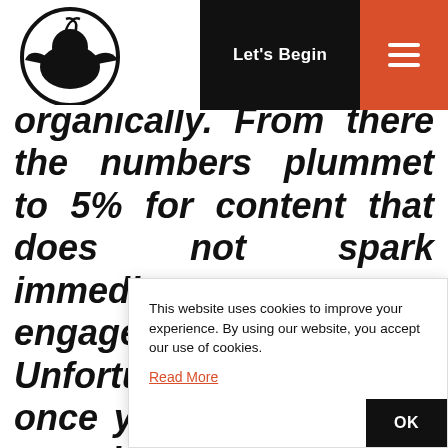Let's Begin [navigation bar with logo and hamburger menu]
organically. From there the numbers plummet to 5% for content that does not spark immediate engagement. Unfortunately, even once you agree to “pay to play” with social media advertising policies restricted arrows, and basically anything
This website uses cookies to improve your experience. By using our website, you accept our use of cookies. Read More
OK